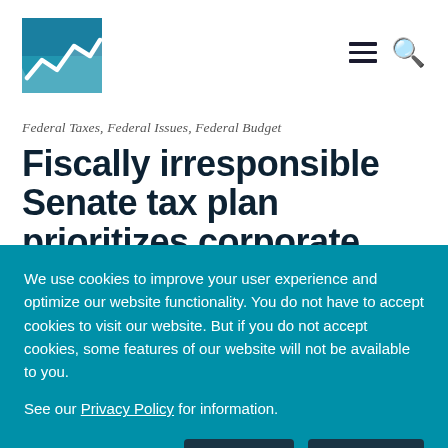[Figure (logo): Organization logo: teal/blue square with white area chart line graphic]
Federal Taxes, Federal Issues, Federal Budget
Fiscally irresponsible Senate tax plan prioritizes corporate
We use cookies to improve your user experience and optimize our website functionality. You do not have to accept cookies to visit our website. But if you do not accept cookies, some features of our website will not be available to you.

See our Privacy Policy for information.